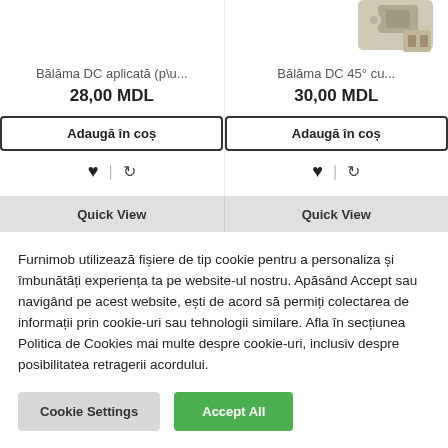[Figure (photo): Product image of Bălăma DC aplicată hardware hinge, partially visible at top]
Bălăma DC aplicată (p\u...
28,00 MDL
Adaugă în coș
[Figure (photo): Product image of Bălăma DC 45° hardware hinge, partially visible at top right]
Bălăma DC 45° cu...
30,00 MDL
Adaugă în coș
Quick View
Quick View
Furnimob utilizează fișiere de tip cookie pentru a personaliza și îmbunătăți experiența ta pe website-ul nostru. Apăsând Accept sau navigând pe acest website, ești de acord să permiți colectarea de informații prin cookie-uri sau tehnologii similare. Afla în secțiunea Politica de Cookies mai multe despre cookie-uri, inclusiv despre posibilitatea retragerii acordului.
Cookie Settings
Accept All